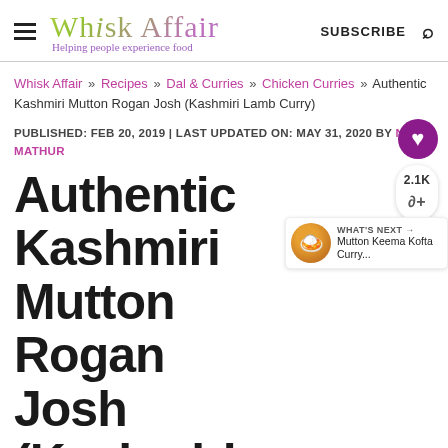Whisk Affair | SUBSCRIBE
Whisk Affair » Recipes » Dal & Curries » Chicken Curries » Authentic Kashmiri Mutton Rogan Josh (Kashmiri Lamb Curry)
PUBLISHED: FEB 20, 2019 | LAST UPDATED ON: MAY 31, 2020 BY NEHA MATHUR
Authentic Kashmiri Mutton Rogan Josh (Kashmiri Lamb
[Figure (other): WHAT'S NEXT arrow, food thumbnail image, Mutton Keema Kofta Curry...]
Blood Pressure is serious